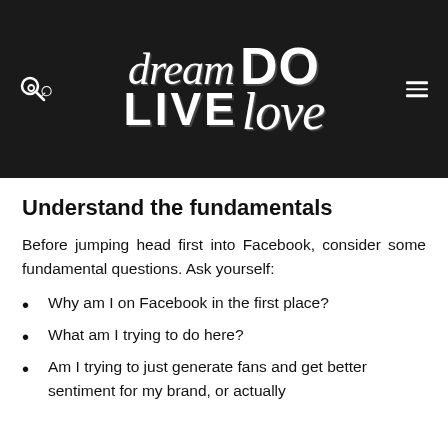[Figure (logo): Dream Do Live Love blog logo on dark background with search and menu icons]
Understand the fundamentals
Before jumping head first into Facebook, consider some fundamental questions. Ask yourself:
Why am I on Facebook in the first place?
What am I trying to do here?
Am I trying to just generate fans and get better sentiment for my brand, or actually